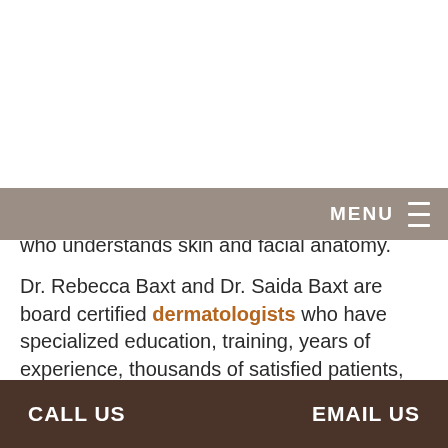MENU
who understands skin and facial anatomy.
Dr. Rebecca Baxt and Dr. Saida Baxt are board certified dermatologists who have specialized education, training, years of experience, thousands of satisfied patients, and a history and tradition of providing honest consultations and natural results.
If you are looking to refresh your appearance and want excellent results, schedule a consultation with Dr. Baxt or Dr. Saida Baxt. Both are bo...
CALL US    EMAIL US